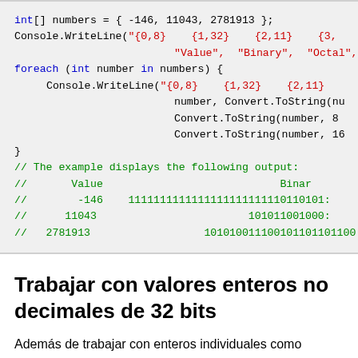[Figure (screenshot): Code block showing C# code with syntax highlighting. Black keywords: int[], foreach, numbers, Console.WriteLine. Blue keywords: int, in, foreach. Red strings: format placeholders. Green comments showing output with Value, Binary columns and rows for -146, 11043, 2781913.]
Trabajar con valores enteros no decimales de 32 bits
Además de trabajar con enteros individuales como valores decimales, también es posible representar como arbitr...